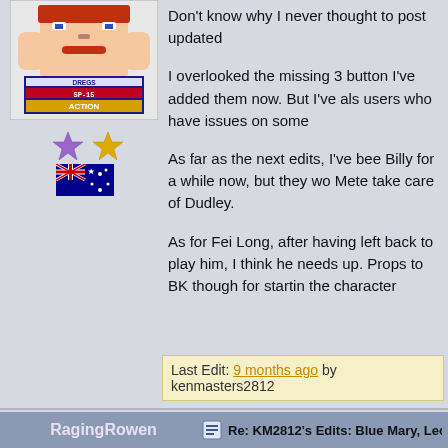[Figure (illustration): Pixel art avatar showing a character with 'DREGS SP-15 ACTION' label]
[Figure (illustration): Two star icons (purple and gold) representing user rank]
[Figure (illustration): Australian flag icon]
Don't know why I never thought to post updated

I overlooked the missing 3 buttons. I've added them now. But I've also users who have issues on some

As far as the next edits, I've been Billy for a while now, but they wo... Mete take care of Dudley.

As for Fei Long, after having left back to play him, I think he needs up. Props to BK though for startin the character
Last Edit: 9 months ago by kenmasters2812
RagingRowen
Re: KM2812's Edits: Blue Mary, Leona
[Figure (illustration): Anime-style character avatar with brown/red hair]
Alright then. Feedback approach

1. Infinite style allows Level 1 to